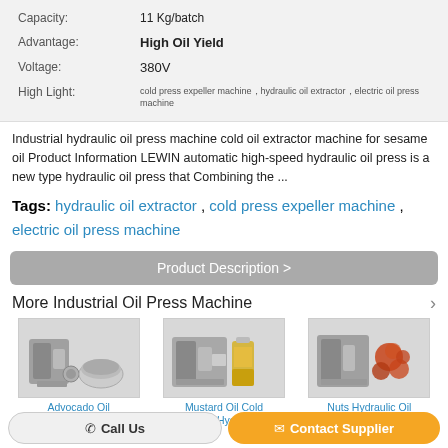| Capacity: | 11 Kg/batch |
| Advantage: | High Oil Yield |
| Voltage: | 380V |
| High Light: | cold press expeller machine，hydraulic oil extractor，electric oil press machine |
Industrial hydraulic oil press machine cold oil extractor machine for sesame oil Product Information LEWIN automatic high-speed hydraulic oil press is a new type hydraulic oil press that Combining the ...
Tags: hydraulic oil extractor , cold press expeller machine , electric oil press machine
Product Description >
More Industrial Oil Press Machine
[Figure (photo): Advocado Oil Extraction machine product image]
Advocado Oil Extraction
[Figure (photo): Mustard Oil Cold Press Hydraulic machine product image]
Mustard Oil Cold Press Hydraulic
[Figure (photo): Nuts Hydraulic Oil Press Processing machine product image]
Nuts Hydraulic Oil Press Processing